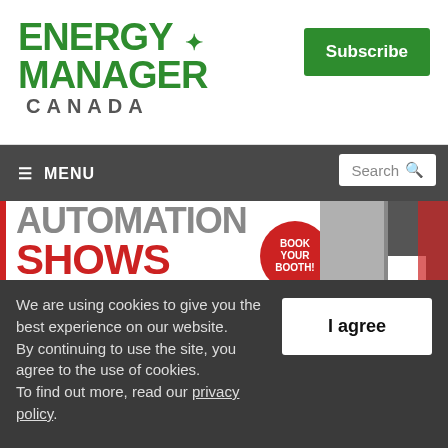[Figure (logo): Energy Manager Canada logo with green maple leaf icon]
Subscribe
≡ MENU   Search
[Figure (infographic): Automation Shows banner ad — 'THE 1 DAY SHOW THAT GOES TO YOUR NEIGHBOURHOOD!' with BOOK YOUR BOOTH circle and city collage]
We are using cookies to give you the best experience on our website.
By continuing to use the site, you agree to the use of cookies.
To find out more, read our privacy policy.
I agree